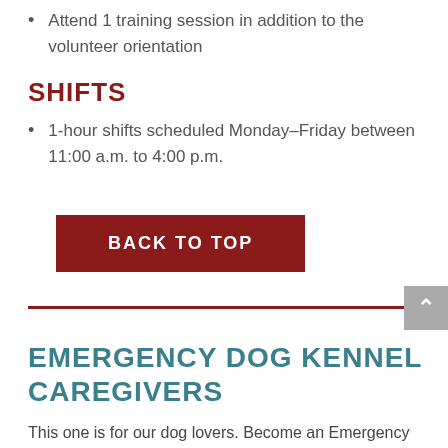Attend 1 training session in addition to the volunteer orientation
SHIFTS
1-hour shifts scheduled Monday–Friday between 11:00 a.m. to 4:00 p.m.
BACK TO TOP
EMERGENCY DOG KENNEL CAREGIVERS
This one is for our dog lovers. Become an Emergency Dog Kennel Caregiver! Located on the lower level of the shelter, the emergency dog kennel is used when we need to